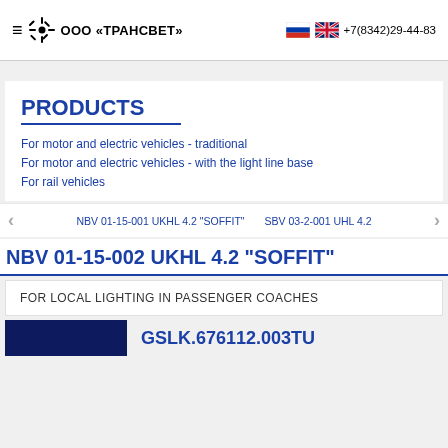≡  ООО «ТРАНСВЕТ»   🇷🇺 🇬🇧 +7(8342)29-44-83
PRODUCTS
For motor and electric vehicles - traditional
For motor and electric vehicles - with the light line base
For rail vehicles
← NBV 01-15-001 UKHL 4.2 "SOFFIT"    SBV 03-2-001 UHL 4.2 →
NBV 01-15-002 UKHL 4.2 "SOFFIT"
FOR LOCAL LIGHTING IN PASSENGER COACHES
GSLK.676112.003TU